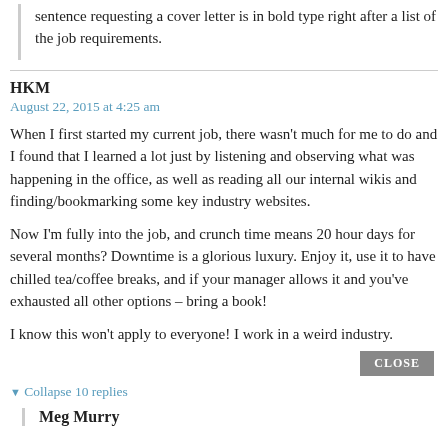sentence requesting a cover letter is in bold type right after a list of the job requirements.
HKM
August 22, 2015 at 4:25 am
When I first started my current job, there wasn't much for me to do and I found that I learned a lot just by listening and observing what was happening in the office, as well as reading all our internal wikis and finding/bookmarking some key industry websites.
Now I'm fully into the job, and crunch time means 20 hour days for several months? Downtime is a glorious luxury. Enjoy it, use it to have chilled tea/coffee breaks, and if your manager allows it and you've exhausted all other options – bring a book!
I know this won't apply to everyone! I work in a weird industry.
▼ Collapse 10 replies
Meg Murry